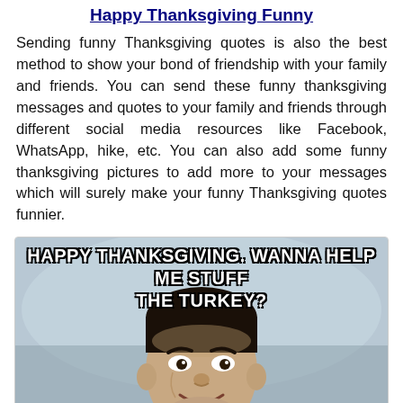Happy Thanksgiving Funny
Sending funny Thanksgiving quotes is also the best method to show your bond of friendship with your family and friends. You can send these funny thanksgiving messages and quotes to your family and friends through different social media resources like Facebook, WhatsApp, hike, etc. You can also add some funny thanksgiving pictures to add more to your messages which will surely make your funny Thanksgiving quotes funnier.
[Figure (photo): Meme image of a man (resembling Mr. Bean) with text 'HAPPY THANKSGIVING. WANNA HELP ME STUFF THE TURKEY?' overlaid in bold white letters with black outline at the top of the image.]